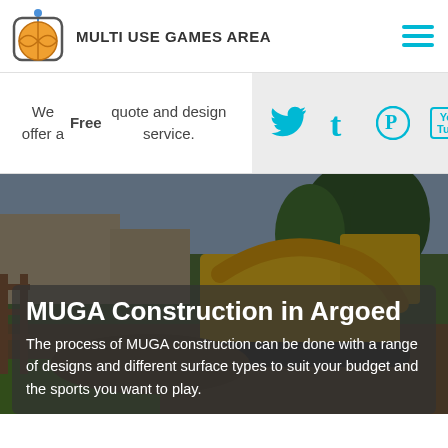[Figure (logo): Multi Use Games Area logo: basketball inside a rounded square with a location pin icon, orange and white colors]
MULTI USE GAMES AREA
[Figure (illustration): Hamburger menu icon with three cyan horizontal bars]
We offer a Free quote and design service.
[Figure (infographic): Social media icons: Twitter bird, Tumblr t, Pinterest P, YouTube — all in cyan color on a light grey background]
[Figure (photo): A yellow excavator / construction vehicle digging at a MUGA construction site, with trees and buildings in the background]
MUGA Construction in Argoed
The process of MUGA construction can be done with a range of designs and different surface types to suit your budget and the sports you want to play.